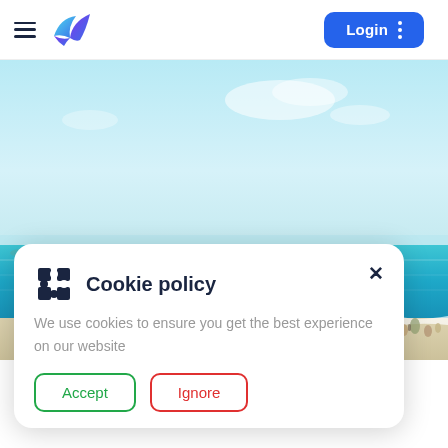Navigation bar with hamburger menu, bird logo, Login button, and three-dots menu
[Figure (screenshot): Beach scene hero image with light blue sky, bright turquoise ocean, sandy beach with people and umbrellas visible at right edge]
Cookie policy
We use cookies to ensure you get the best experience on our website
Accept
Ignore